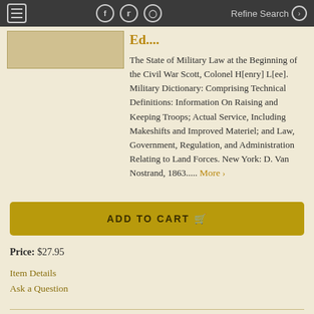Refine Search
Ed....
The State of Military Law at the Beginning of the Civil War Scott, Colonel H[enry] L[ee]. Military Dictionary: Comprising Technical Definitions: Information On Raising and Keeping Troops; Actual Service, Including Makeshifts and Improved Materiel; and Law, Government, Regulation, and Administration Relating to Land Forces. New York: D. Van Nostrand, 1863..... More >
ADD TO CART
Price: $27.95
Item Details
Ask a Question